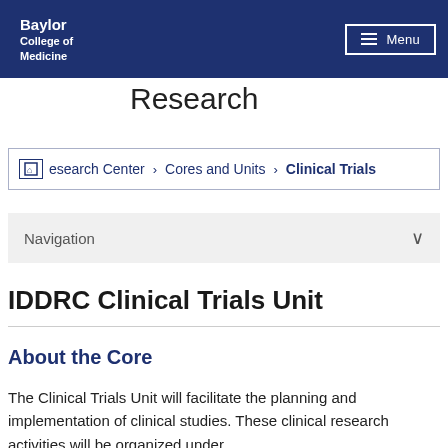Baylor College of Medicine | Menu
Research
Research Center > Cores and Units > Clinical Trials
Navigation
IDDRC Clinical Trials Unit
About the Core
The Clinical Trials Unit will facilitate the planning and implementation of clinical studies. These clinical research activities will be organized under